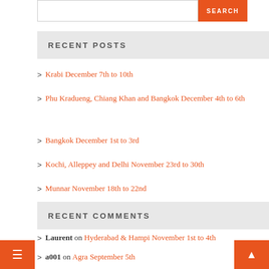RECENT POSTS
Krabi December 7th to 10th
Phu Kradueng, Chiang Khan and Bangkok December 4th to 6th
Bangkok December 1st to 3rd
Kochi, Alleppey and Delhi November 23rd to 30th
Munnar November 18th to 22nd
RECENT COMMENTS
Laurent on Hyderabad & Hampi November 1st to 4th
a001 on Agra September 5th
amille on Agra September 5th
a001 on Rishikesh October 2nd to 7th